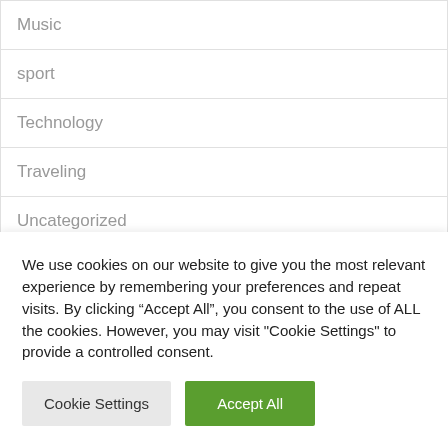Music
sport
Technology
Traveling
Uncategorized
We use cookies on our website to give you the most relevant experience by remembering your preferences and repeat visits. By clicking “Accept All”, you consent to the use of ALL the cookies. However, you may visit "Cookie Settings" to provide a controlled consent.
Cookie Settings
Accept All